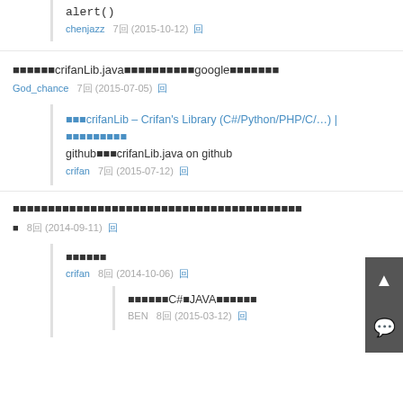alert()
chenjazz   7回 (2015-10-12)  回
■■■■■■crifanLib.java■■■■■■■■■■google■■■■■■■
God_chance   7回 (2015-07-05)  回
■■■crifanLib – Crifan's Library (C#/Python/PHP/C/…) | ■■■■■■■■■ github■■■crifanLib.java on github
crifan   7回 (2015-07-12)  回
■■■■■■■■■■■■■■■■■■■■■■■■■■■■■■■■■■■■■■■■■
■   8回 (2014-09-11)  回
■■■■■■
crifan   8回 (2014-10-06)  回
■■■■■■C#■JAVA■■■■■■
BEN   8回 (2015-03-12)  回